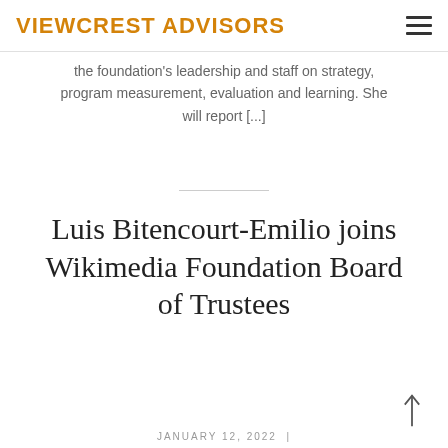VIEWCREST ADVISORS
the foundation's leadership and staff on strategy, program measurement, evaluation and learning. She will report [...]
Luis Bitencourt-Emilio joins Wikimedia Foundation Board of Trustees
JANUARY 12, 2022 |